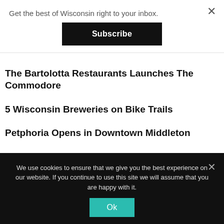Get the best of Wisconsin right to your inbox.
Subscribe
The Bartolotta Restaurants Launches The Commodore
5 Wisconsin Breweries on Bike Trails
Petphoria Opens in Downtown Middleton
5 Places for Live Music in Milwaukee
Restaurant of the Week: Geneva ChopHouse
We use cookies to ensure that we give you the best experience on our website. If you continue to use this site we will assume that you are happy with it.
Ok